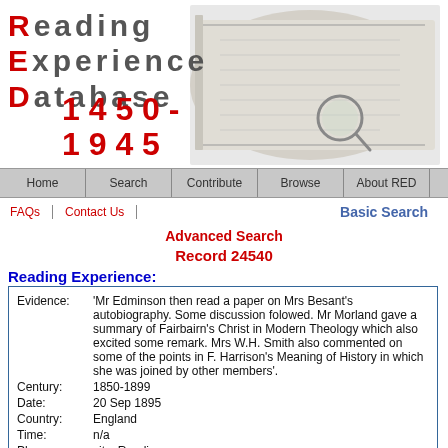[Figure (illustration): Reading Experience Database website header banner with book/glasses illustration and RED logo with date range 1450-1945]
Home | Search | Contribute | Browse | About RED
FAQs | Contact Us | Basic Search
Advanced Search
Record 24540
Reading Experience:
| Field | Value |
| --- | --- |
| Evidence: | 'Mr Edminson then read a paper on Mrs Besant's autobiography. Some discussion folowed. Mr Morland gave a summary of Fairbairn's Christ in Modern Theology which also excited some remark. Mrs W.H. Smith also commented on some of the points in F. Harrison's Meaning of History in which she was joined by other members'. |
| Century: | 1850-1899 |
| Date: | 20 Sep 1895 |
| Country: | England |
| Time: | n/a |
| Place: | city: Reading |